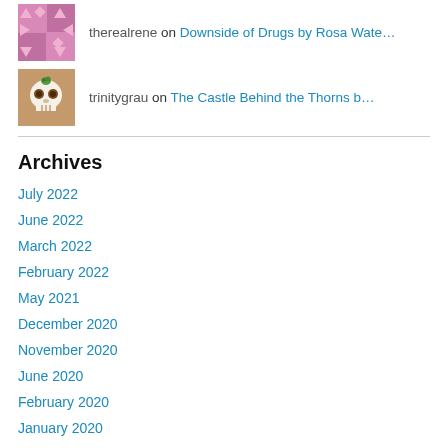therealrene on Downside of Drugs by Rosa Wate…
trinitygrau on The Castle Behind the Thorns b…
Archives
July 2022
June 2022
March 2022
February 2022
May 2021
December 2020
November 2020
June 2020
February 2020
January 2020
December 2019